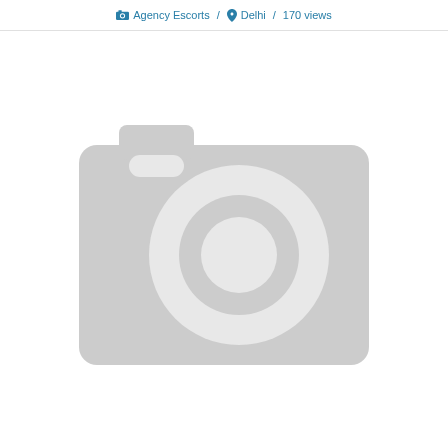Agency Escorts / Delhi / 170 views
[Figure (illustration): Placeholder image showing a grey camera icon on a white background, indicating no photo is available.]